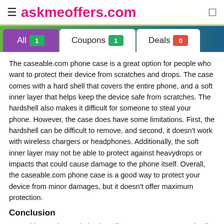≡ askmeoffers.com
All 1   Coupons 1   Deals 0
The caseable.com phone case is a great option for people who want to protect their device from scratches and drops. The case comes with a hard shell that covers the entire phone, and a soft inner layer that helps keep the device safe from scratches. The hardshell also makes it difficult for someone to steal your phone. However, the case does have some limitations. First, the hardshell can be difficult to remove, and second, it doesn't work with wireless chargers or headphones. Additionally, the soft inner layer may not be able to protect against heavydrops or impacts that could cause damage to the phone itself. Overall, the caseable.com phone case is a good way to protect your device from minor damages, but it doesn't offer maximum protection.
Conclusion
Caseable.com is a website that allows users to create and sell